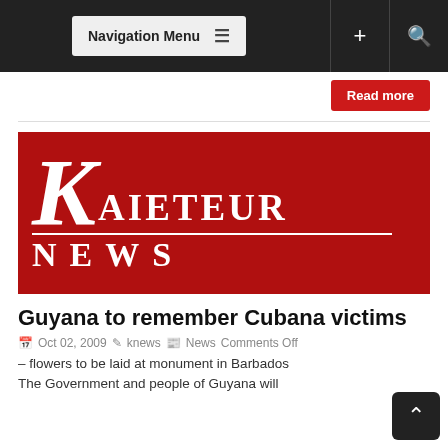Navigation Menu
Read more
[Figure (logo): Kaieteur News logo — large white K on red background with AIETEUR text to its right and NEWS below, separated by a horizontal white line]
Guyana to remember Cubana victims
Oct 02, 2009 · knews · News · Comments Off
– flowers to be laid at monument in Barbados
The Government and people of Guyana will